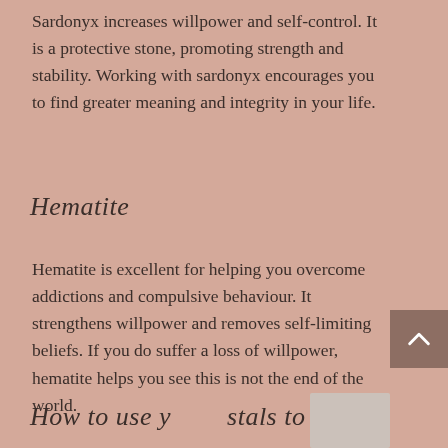Sardonyx increases willpower and self-control. It is a protective stone, promoting strength and stability. Working with sardonyx encourages you to find greater meaning and integrity in your life.
Hematite
Hematite is excellent for helping you overcome addictions and compulsive behaviour. It strengthens willpower and removes self-limiting beliefs. If you do suffer a loss of willpower, hematite helps you see this is not the end of the world.
How to use your crystals to